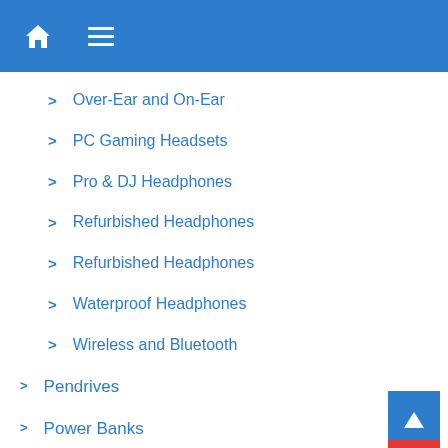Home | Menu
> Over-Ear and On-Ear
> PC Gaming Headsets
> Pro & DJ Headphones
> Refurbished Headphones
> Refurbished Headphones
> Waterproof Headphones
> Wireless and Bluetooth
> Pendrives
> Power Banks
Adult Collection
Cameras & Photography